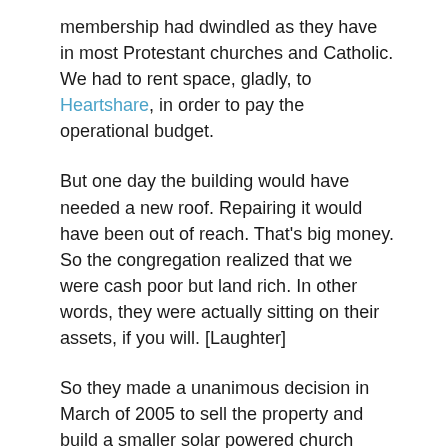membership had dwindled as they have in most Protestant churches and Catholic. We had to rent space, gladly, to Heartshare, in order to pay the operational budget.
But one day the building would have needed a new roof. Repairing it would have been out of reach. That's big money. So the congregation realized that we were cash poor but land rich. In other words, they were actually sitting on their assets, if you will. [Laughter]
So they made a unanimous decision in March of 2005 to sell the property and build a smaller solar powered church building. We would use the proceeds to remain in operation regardless of the membership fluctuation. In other words, we'd have enough money to keep going and to do the things that Jesus said his followers should do… like care for the poor, and do it with love.